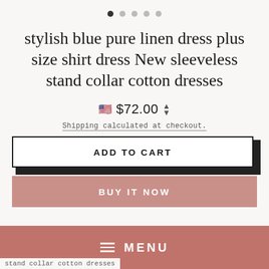[Figure (other): Carousel dot navigation: 5 dots, first one filled/active, rest grey]
stylish blue pure linen dress plus size shirt dress New sleeveless stand collar cotton dresses
$72.00
Shipping calculated at checkout.
ADD TO CART
BUY IT NOW
MENU
stand collar cotton dresses